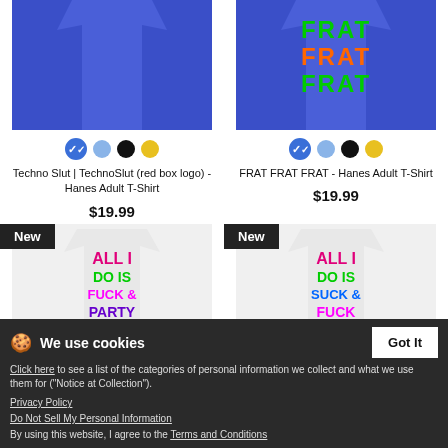[Figure (photo): Blue t-shirt product image (left)]
[Figure (photo): Blue t-shirt with FRAT text product image (right)]
Techno Slut | TechnoSlut (red box logo) - Hanes Adult T-Shirt
$19.99
FRAT FRAT FRAT - Hanes Adult T-Shirt
$19.99
[Figure (photo): New badge white t-shirt with ALL I DO IS text (left)]
[Figure (photo): New badge white t-shirt with ALL I DO IS text (right)]
We use cookies
Click here to see a list of the categories of personal information we collect and what we use them for ("Notice at Collection").
Privacy Policy
Do Not Sell My Personal Information
By using this website, I agree to the Terms and Conditions